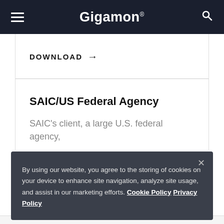Gigamon
DOWNLOAD →
SAIC/US Federal Agency
SAIC's client, a large U.S. federal agency,
By using our website, you agree to the storing of cookies on your device to enhance site navigation, analyze site usage, and assist in our marketing efforts. Cookie Policy Privacy Policy